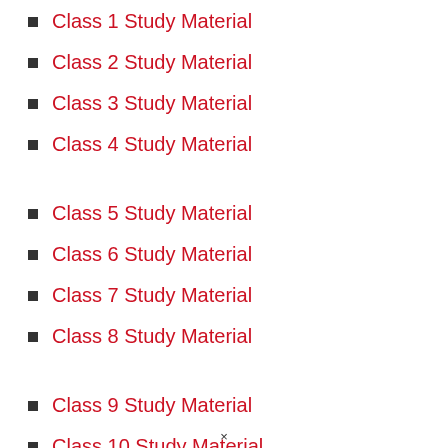Class 1 Study Material
Class 2 Study Material
Class 3 Study Material
Class 4 Study Material
Class 5 Study Material
Class 6 Study Material
Class 7 Study Material
Class 8 Study Material
Class 9 Study Material
Class 10 Study Material
Class 11 Study Material